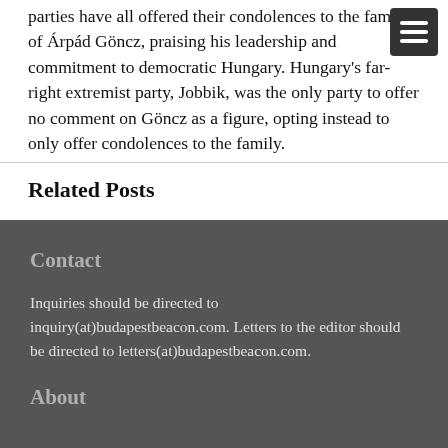parties have all offered their condolences to the family of Árpád Göncz, praising his leadership and commitment to democratic Hungary. Hungary's far-right extremist party, Jobbik, was the only party to offer no comment on Göncz as a figure, opting instead to only offer condolences to the family.
Related Posts
Contact
Inquiries should be directed to inquiry(at)budapestbeacon.com. Letters to the editor should be directed to letters(at)budapestbeacon.com.
About